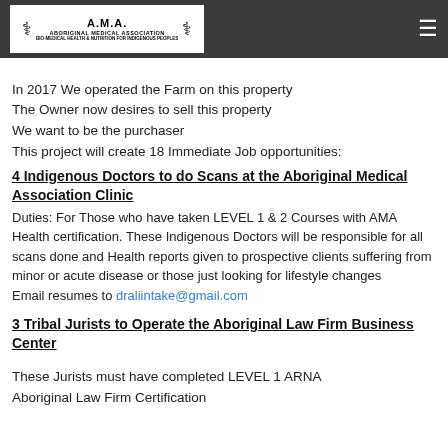A.M.A. Aboriginal Medical Association — Bio-Medical Health & Nutrition for Indigenous Peoples
In 2017 We operated the Farm on this property
The Owner now desires to sell this property
We want to be the purchaser
This project will create 18 Immediate Job opportunities:
4 Indigenous Doctors to do Scans at the Aboriginal Medical Association Clinic
Duties: For Those who have taken LEVEL 1 & 2 Courses with AMA Health certification. These Indigenous Doctors will be responsible for all scans done and Health reports given to prospective clients suffering from minor or acute disease or those just looking for lifestyle changes
Email resumes to draliintake@gmail.com
3 Tribal Jurists to Operate the Aboriginal Law Firm Business Center
These Jurists must have completed LEVEL 1 ARNA Aboriginal Law Firm Certification